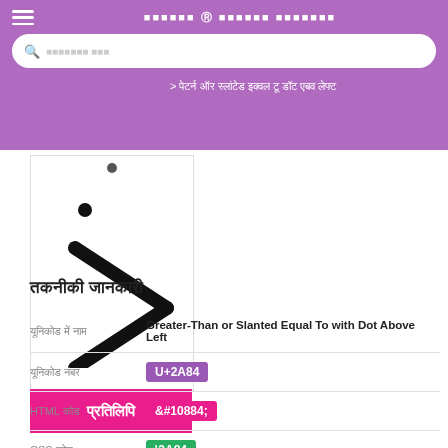≥ ग्रेटर-दैन ऑर स्लांटेड इक्वल टू डॉट एबव लेफ्ट
[Figure (illustration): Greater-Than or Slanted Equal To with Dot Above Left symbol (≥ with dot), large black symbol on white background]
प्रतिलिपि
तकनीकी जानकारी
|  |  |
| --- | --- |
| यूनिकोड में नाम | Greater-Than or Slanted Equal To with Dot Above Left |
| यूनिकोड नंबर | U+2A84 |
| HTML कोड | &#10884; |
| CSS कोड | \2A84 |
| खंड | पूरक गणितीय ऑपरेटर्स |